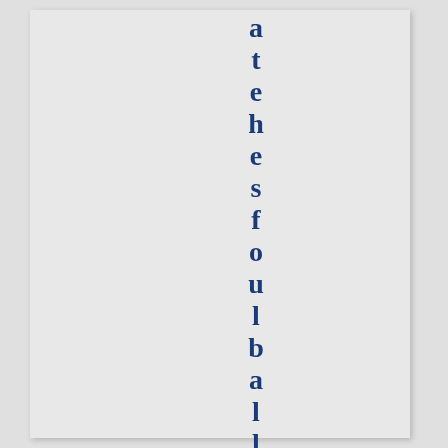atehesfoultballs (vertical orientation, reading downward)